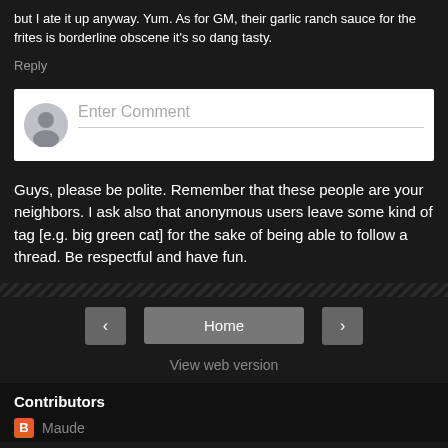but I ate it up anyway. Yum. As for GM, their garlic ranch sauce for the frites is borderline obscene it's so dang tasty.
Reply
[Figure (other): Comment input box with user avatar placeholder and 'Enter Comment' placeholder text]
Guys, please be polite. Remember that these people are your neighbors. I ask also that anonymous users leave some kind of tag [e.g. big green cat] for the sake of being able to follow a thread. Be respectful and have fun.
[Figure (other): Navigation buttons: left arrow, Home, right arrow]
View web version
Contributors
Maude